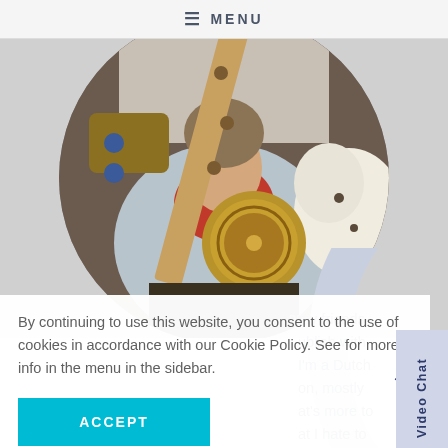≡ MENU
[Figure (photo): Circular profile photo showing a person holding an ornate sword/weapon with a round brass pommel, wearing a red shirt and light jacket, with a fluffy white animal/stuffed toy visible on the right]
By continuing to use this website, you consent to the use of cookies in accordance with our Cookie Policy. See for more info in the menu in the sidebar.
ACCEPT
my friends
ublish with
I'm a Dutch
on, mostly
at's more to
at I hate to
lk to others.
Video Chat